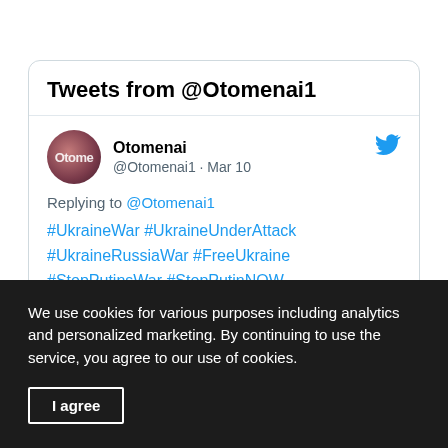Tweets from @Otomenai1
Otomenai @Otomenai1 · Mar 10
Replying to @Otomenai1
#UkraineWar #UkraineUnderAttack #UkraineRussiaWar #FreeUkraine #StopPutinsWar #StopPutinNOW #StopPutinCrimes #stopputin
We use cookies for various purposes including analytics and personalized marketing. By continuing to use the service, you agree to our use of cookies.
I agree